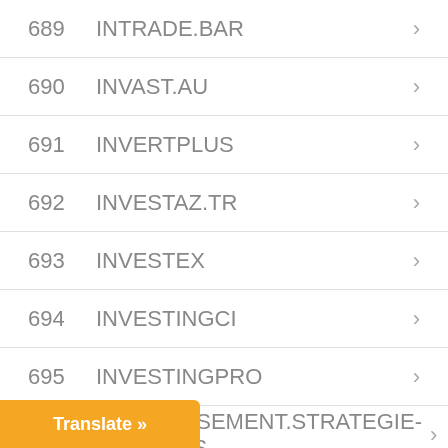689  INTRADE.BAR
690  INVAST.AU
691  INVERTPLUS
692  INVESTAZ.TR
693  INVESTEX
694  INVESTINGCI
695  INVESTINGPRO
696  INVESTISSEMENT.STRATEGIE-BUSINESS
697  INVESTMIB
698  INVESTORS-EUROPE
699  INVESTOUS
700  INVESTS360
701  INVESTTECK
702  IOCBCFX
703  ...ETS
[Figure (other): Orange 'Translate »' button overlay at bottom left]